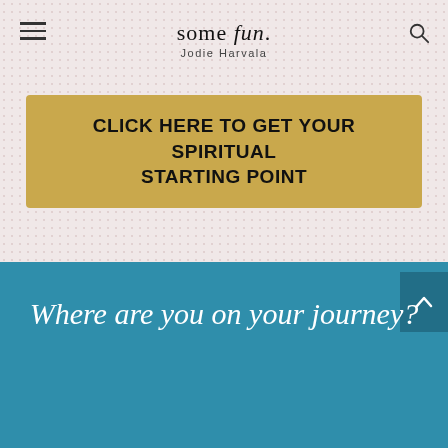some fun. Jodie Harvala
CLICK HERE TO GET YOUR SPIRITUAL STARTING POINT
Where are you on your journey?